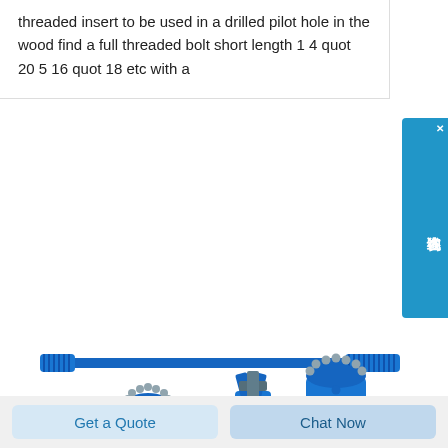threaded insert to be used in a drilled pilot hole in the wood find a full threaded bolt short length 1 4 quot 20 5 16 quot 18 etc with a
[Figure (photo): Blue mining/drilling tool components: a long threaded rod/bolt at top, three drill bit heads (two crown bits and one cross-blade bit) in the middle, and a long tapered drill rod at the bottom. Watermark text partially visible. A red circular element partially visible at bottom right.]
Get a Quote
Chat Now